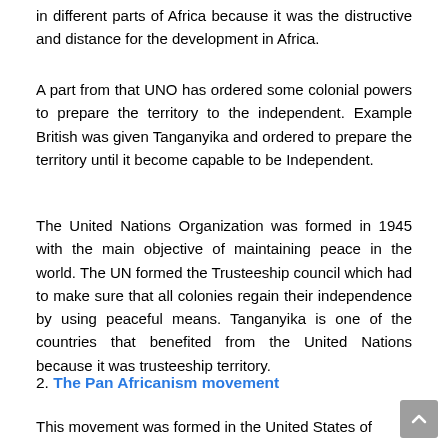in different parts of Africa because it was the distructive and distance for the development in Africa.
A part from that UNO has ordered some colonial powers to prepare the territory to the independent. Example British was given Tanganyika and ordered to prepare the territory until it become capable to be Independent.
The United Nations Organization was formed in 1945 with the main objective of maintaining peace in the world. The UN formed the Trusteeship council which had to make sure that all colonies regain their independence by using peaceful means. Tanganyika is one of the countries that benefited from the United Nations because it was trusteeship territory.
2. The Pan Africanism movement
This movement was formed in the United States of